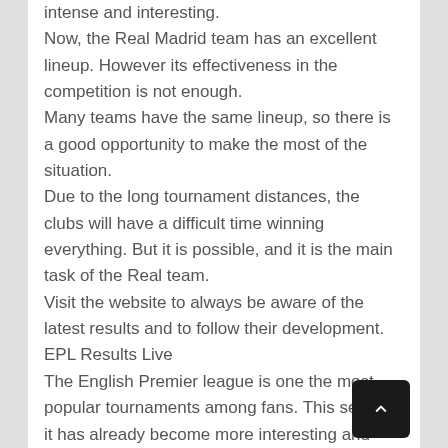intense and interesting.
Now, the Real Madrid team has an excellent lineup. However its effectiveness in the competition is not enough.
Many teams have the same lineup, so there is a good opportunity to make the most of the situation.
Due to the long tournament distances, the clubs will have a difficult time winning everything. But it is possible, and it is the main task of the Real team.
Visit the website to always be aware of the latest results and to follow their development.
EPL Results Live
The English Premier league is one the most popular tournaments among fans. This season, it has already become more interesting and exciting.